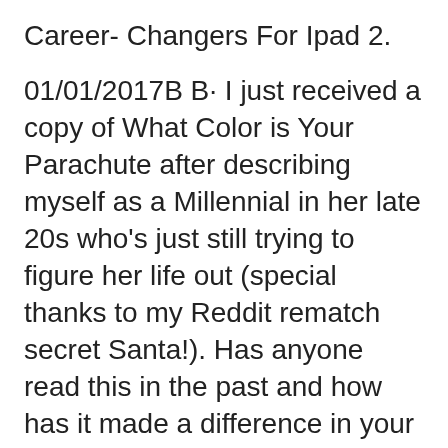Career- Changers For Ipad 2.
01/01/2017B B· I just received a copy of What Color is Your Parachute after describing myself as a Millennial in her late 20s who's just still trying to figure her life out (special thanks to my Reddit rematch secret Santa!). Has anyone read this in the past and how has it made a difference in your life? I personally can't wait to read this in 2017 but would 01/01/1970B B· What Color is Your Parachute? 2017 book. Read 835 reviews from the world's largest community for readers. With more than 10 million copies sold in 28 cou...